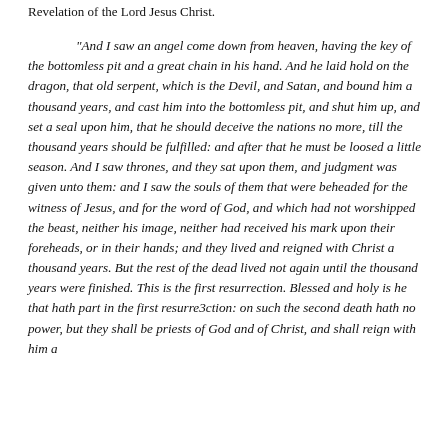Revelation of the Lord Jesus Christ.
“And I saw an angel come down from heaven, having the key of the bottomless pit and a great chain in his hand. And he laid hold on the dragon, that old serpent, which is the Devil, and Satan, and bound him a thousand years, and cast him into the bottomless pit, and shut him up, and set a seal upon him, that he should deceive the nations no more, till the thousand years should be fulfilled: and after that he must be loosed a little season. And I saw thrones, and they sat upon them, and judgment was given unto them: and I saw the souls of them that were beheaded for the witness of Jesus, and for the word of God, and which had not worshipped the beast, neither his image, neither had received his mark upon their foreheads, or in their hands; and they lived and reigned with Christ a thousand years. But the rest of the dead lived not again until the thousand years were finished. This is the first resurrection. Blessed and holy is he that hath part in the first resurre3ction: on such the second death hath no power, but they shall be priests of God and of Christ, and shall reign with him a